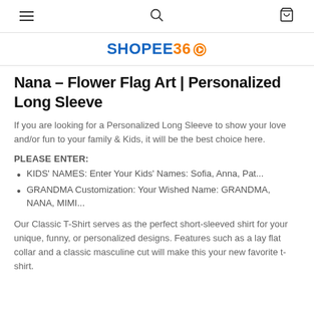Navigation bar with hamburger menu, search icon, and cart icon
SHOPEE360
Nana - Flower Flag Art | Personalized Long Sleeve
If you are looking for a Personalized Long Sleeve to show your love and/or fun to your family & Kids, it will be the best choice here.
PLEASE ENTER:
KIDS' NAMES: Enter Your Kids' Names: Sofia, Anna, Pat...
GRANDMA Customization: Your Wished Name: GRANDMA, NANA, MIMI...
Our Classic T-Shirt serves as the perfect short-sleeved shirt for your unique, funny, or personalized designs. Features such as a lay flat collar and a classic masculine cut will make this your new favorite t-shirt.